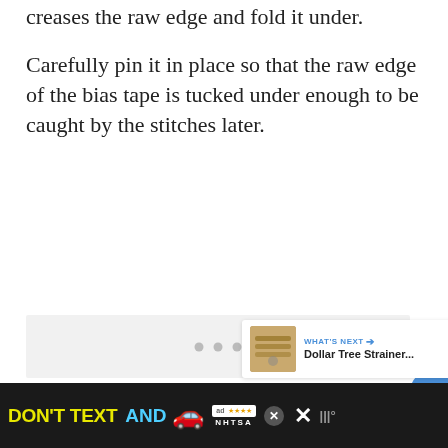creases the raw edge and fold it under.
Carefully pin it in place so that the raw edge of the bias tape is tucked under enough to be caught by the stitches later.
[Figure (photo): Light gray placeholder image area with three small gray dots centered, indicating a loading or empty image. Has a heart (favorite) button and share button on the right side, and a 'What's Next' card showing Dollar Tree Strainer... in the lower right.]
[Figure (screenshot): Black advertisement banner at the bottom reading 'DON'T TEXT AND' with a car emoji and NHTSA branding. Includes ad badge and close button.]